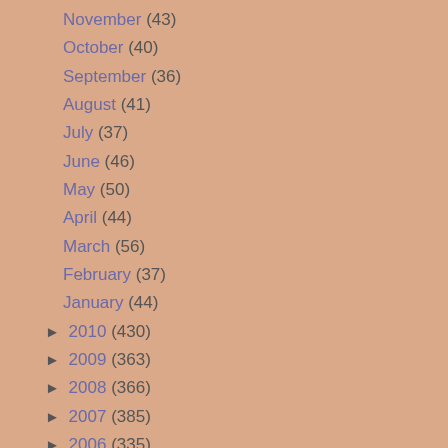November (43)
October (40)
September (36)
August (41)
July (37)
June (46)
May (50)
April (44)
March (56)
February (37)
January (44)
► 2010 (430)
► 2009 (363)
► 2008 (366)
► 2007 (385)
► 2006 (335)
► 2005 (174)